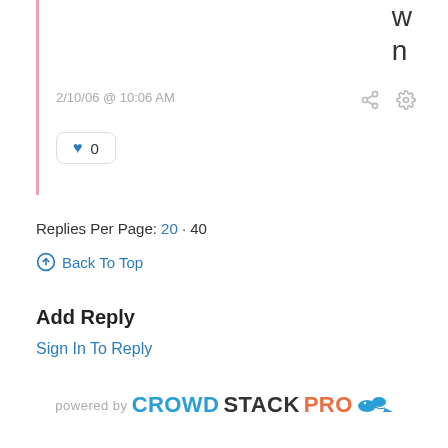w
n
2/10/06 @ 10:06 AM
❤ 0
Replies Per Page: 20 · 40
Back To Top
Add Reply
Sign In To Reply
powered by CROWDSTACKPRO